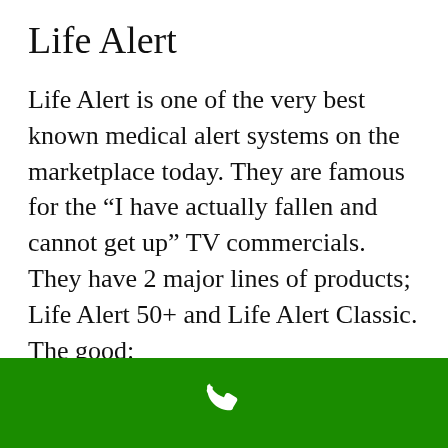Life Alert
Life Alert is one of the very best known medical alert systems on the marketplace today. They are famous for the “I have actually fallen and cannot get up” TV commercials. They have 2 major lines of products; Life Alert 50+ and Life Alert Classic.
The good:
Life Alert is developed around medical alert tracking and do not have any other
[Figure (other): Green bar at bottom of screen with a white phone/call icon in the center]